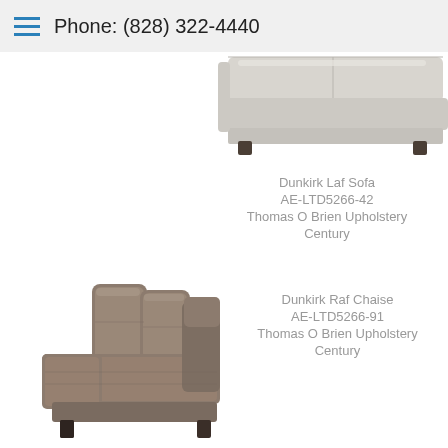Phone: (828) 322-4440
[Figure (photo): Partial view of Dunkirk Laf Sofa in light gray upholstery, cropped at top-right of page]
Dunkirk Laf Sofa
AE-LTD5266-42
Thomas O Brien Upholstery
Century
[Figure (photo): Dunkirk Raf Chaise in taupe/brown textured fabric with two back cushions, shown from front-right angle]
Dunkirk Raf Chaise
AE-LTD5266-91
Thomas O Brien Upholstery
Century